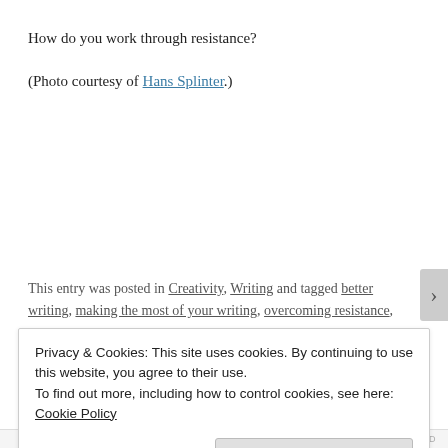How do you work through resistance?
(Photo courtesy of Hans Splinter.)
This entry was posted in Creativity, Writing and tagged better writing, making the most of your writing, overcoming resistance,
Privacy & Cookies: This site uses cookies. By continuing to use this website, you agree to their use.
To find out more, including how to control cookies, see here: Cookie Policy
Close and accept